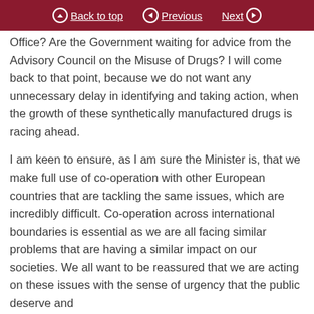Back to top | Previous | Next
Office? Are the Government waiting for advice from the Advisory Council on the Misuse of Drugs? I will come back to that point, because we do not want any unnecessary delay in identifying and taking action, when the growth of these synthetically manufactured drugs is racing ahead.
I am keen to ensure, as I am sure the Minister is, that we make full use of co-operation with other European countries that are tackling the same issues, which are incredibly difficult. Co-operation across international boundaries is essential as we are all facing similar problems that are having a similar impact on our societies. We all want to be reassured that we are acting on these issues with the sense of urgency that the public deserve and